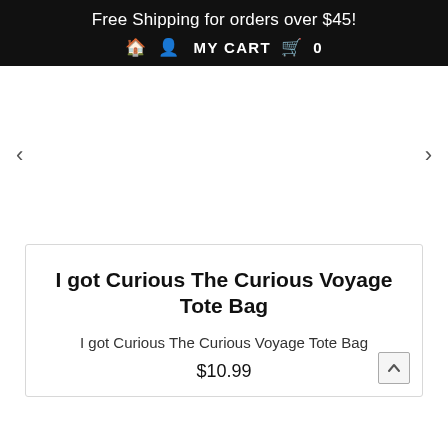Free Shipping for orders over $45!
🏠 👤 MY CART 🛒 0
I got Curious The Curious Voyage Tote Bag
I got Curious The Curious Voyage Tote Bag
$10.99